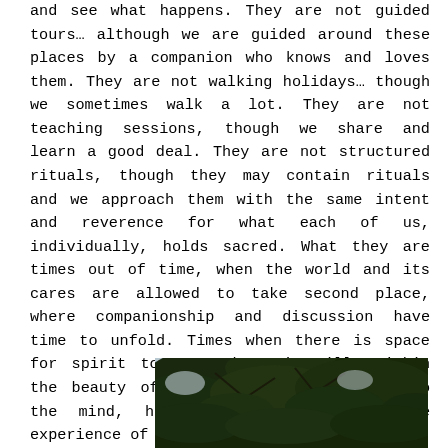and see what happens. They are not guided tours… although we are guided around these places by a companion who knows and loves them. They are not walking holidays… though we sometimes walk a lot. They are not teaching sessions, though we share and learn a good deal. They are not structured rituals, though they may contain rituals and we approach them with the same intent and reverence for what each of us, individually, holds sacred. What they are times out of time, when the world and its cares are allowed to take second place, where companionship and discussion have time to unfold. Times when there is space for spirit to move where it will, within the beauty of a landscape that speaks to the mind, heart and soul through the experience of the senses.
[Figure (photo): Photograph of tree branches with dark green foliage against a light sky, partially visible at the bottom of the page.]